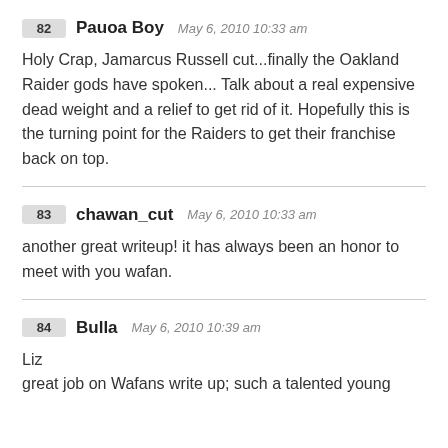82 Pauoa Boy May 6, 2010 10:33 am
Holy Crap, Jamarcus Russell cut...finally the Oakland Raider gods have spoken... Talk about a real expensive dead weight and a relief to get rid of it. Hopefully this is the turning point for the Raiders to get their franchise back on top.
83 chawan_cut May 6, 2010 10:33 am
another great writeup! it has always been an honor to meet with you wafan.
84 Bulla May 6, 2010 10:39 am
Liz
great job on Wafans write up; such a talented young